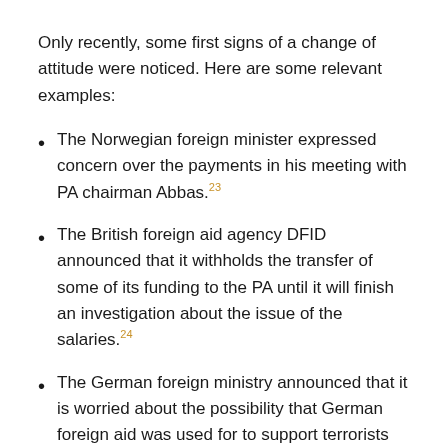Only recently, some first signs of a change of attitude were noticed. Here are some relevant examples:
The Norwegian foreign minister expressed concern over the payments in his meeting with PA chairman Abbas.23
The British foreign aid agency DFID announced that it withholds the transfer of some of its funding to the PA until it will finish an investigation about the issue of the salaries.24
The German foreign ministry announced that it is worried about the possibility that German foreign aid was used for to support terrorists and their families.25
The Israel Foreign Ministry charged in December 2015, "Palestinians convicted of terrorism serving time in Israeli prisons are given monthly payments by Palestinian officials. Those who serve more than five years are